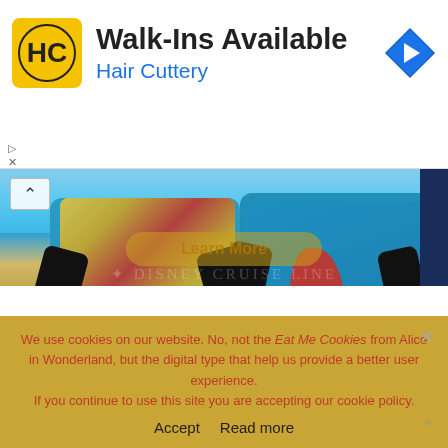[Figure (screenshot): Advertisement banner for Hair Cuttery showing logo and 'Walk-Ins Available' text]
Walk-Ins Available
Hair Cuttery
[Figure (photo): Two Disney character mascots in tropical beach outfits standing on a beach with turquoise water, part of a Disney Cruise Line promotion]
We use cookies on our website. No, not the Eat Me Cookies from Alice in Wonderland, but the digital type that help us provide a better user experience.
If you continue to use this site you are accepting our cookie policy.
Accept   Read more